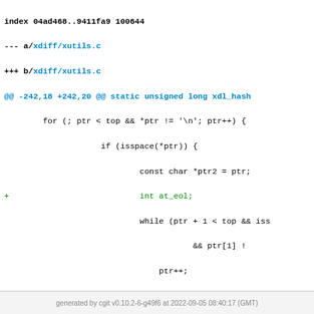[Figure (screenshot): Git diff view of xdiff/xutils.c showing code changes with added lines (green +) and removed lines (red -), file header in blue and hunk header in cyan monospace font]
generated by cgit v0.10.2-6-g49f6 at 2022-09-05 08:40:17 (GMT)